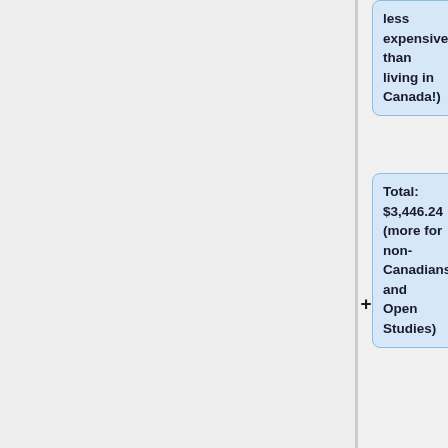less expensive than living in Canada!
Total: $3,446.24 (more for non-Canadians and Open Studies)
Plus:
* international ticket to Accra: cost can vary greatly; from Edmonton likely to range from $1700 to $3000 and up, depending on timing and